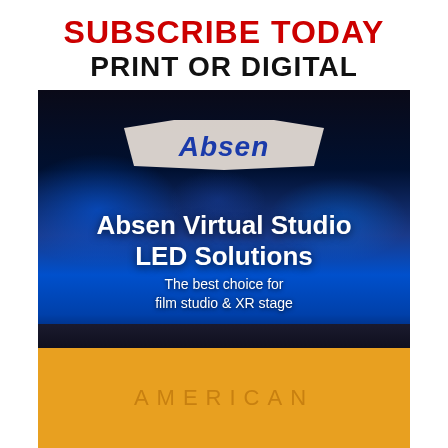SUBSCRIBE TODAY
PRINT OR DIGITAL
[Figure (advertisement): Absen Virtual Studio LED Solutions advertisement showing a curved LED display wall in a film studio with blue electric visual effects. Logo sign reads 'Absen' at the top. Text overlay reads 'Absen Virtual Studio LED Solutions' and 'The best choice for film studio & XR stage'. Bottom section is yellow/gold with text 'AMERICAN'.]
Absen Virtual Studio LED Solutions
The best choice for film studio & XR stage
AMERICAN